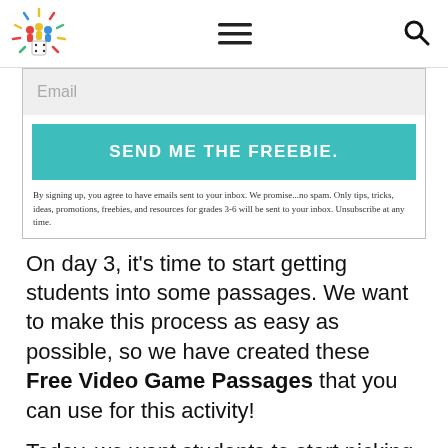[Logo] [Hamburger menu] [Search icon]
[Figure (logo): Colorful board game / people logo with rays, in red, yellow, green, blue colors with a dice element]
Email
SEND ME THE FREEBIE.
By signing up, you agree to have emails sent to your inbox. We promise...no spam. Only tips, tricks, ideas, promotions, freebies, and resources for grades 3-6 will be sent to your inbox. Unsubscribe at any time.
On day 3, it’s time to start getting students into some passages. We want to make this process as easy as possible, so we have created these Free Video Game Passages that you can use for this activity!
Today, we want students to start picking